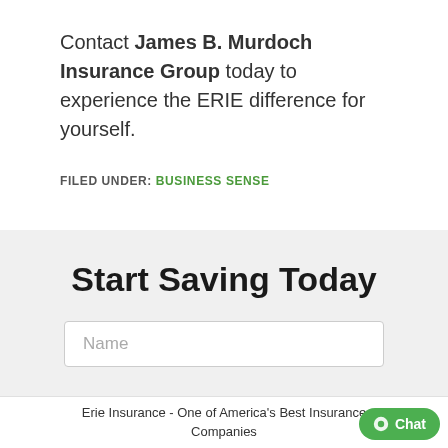Contact James B. Murdoch Insurance Group today to experience the ERIE difference for yourself.
FILED UNDER: BUSINESS SENSE
Start Saving Today
Name
Erie Insurance - One of America's Best Insurance Companies